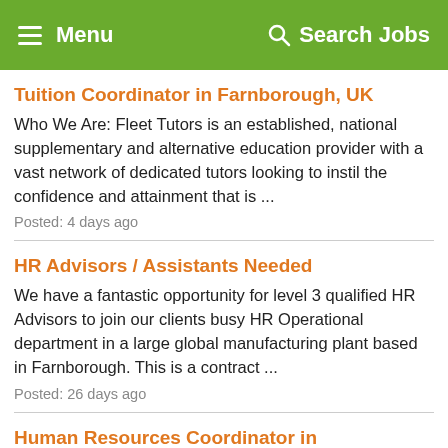Menu   Search Jobs
Tuition Coordinator in Farnborough, UK
Who We Are: Fleet Tutors is an established, national supplementary and alternative education provider with a vast network of dedicated tutors looking to instil the confidence and attainment that is ...
Posted: 4 days ago
HR Advisors / Assistants Needed
We have a fantastic opportunity for level 3 qualified HR Advisors to join our clients busy HR Operational department in a large global manufacturing plant based in Farnborough. This is a contract ...
Posted: 26 days ago
Human Resources Coordinator in Farnborough, UK